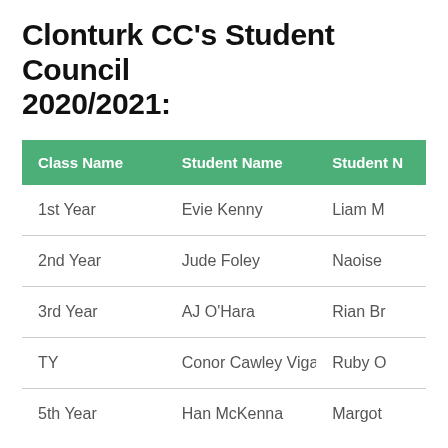Clonturk CC's Student Council 2020/2021:
| Class Name | Student Name | Student [Name] |
| --- | --- | --- |
| 1st Year | Evie Kenny | Liam M |
| 2nd Year | Jude Foley | Naoise |
| 3rd Year | AJ O'Hara | Rian Br |
| TY | Conor Cawley Viga | Ruby O |
| 5th Year | Han McKenna | Margot |
| Role | Student Name |
| --- | --- |